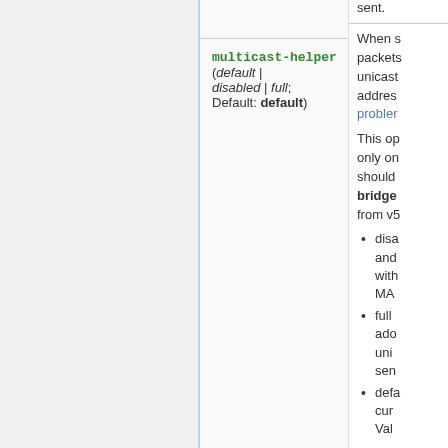sent.
multicast-helper (default | disabled | full; Default: default)
When s packets unicast addres problem This op only on should bridge from v5
disa and with MA
full ado uni sen
defa cur Val